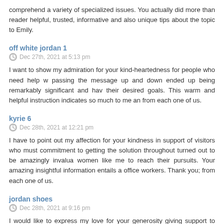comprehend a variety of specialized issues. You actually did more than readers to render helpful, trusted, informative and also unique tips about the topic to Emily.
off white jordan 1
Dec 27th, 2021 at 5:13 pm
I want to show my admiration for your kind-heartedness for people who need help with passing the message up and down ended up being remarkably significant and have helped their desired goals. This warm and helpful instruction indicates so much to me and further from each one of us.
kyrie 6
Dec 28th, 2021 at 12:21 pm
I have to point out my affection for your kindness in support of visitors who must commitment to getting the solution throughout turned out to be amazingly invaluable women like me to reach their pursuits. Your amazing insightful information entails a office workers. Thank you; from each one of us.
jordan shoes
Dec 28th, 2021 at 9:16 pm
I would like to express my love for your generosity giving support to those people w real dedication to getting the message up and down had been definitely valuable a